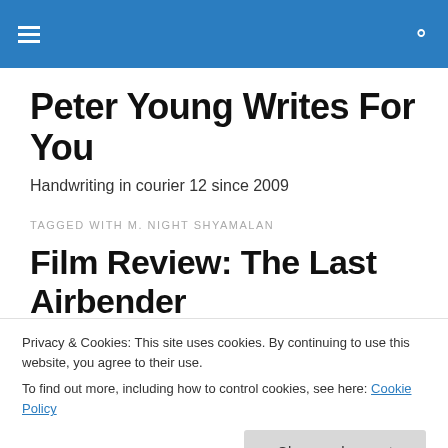Peter Young Writes For You — navigation bar
Peter Young Writes For You
Handwriting in courier 12 since 2009
TAGGED WITH M. NIGHT SHYAMALAN
Film Review: The Last Airbender
Privacy & Cookies: This site uses cookies. By continuing to use this website, you agree to their use.
To find out more, including how to control cookies, see here: Cookie Policy
the near future indicates that this cinematic gimmick is